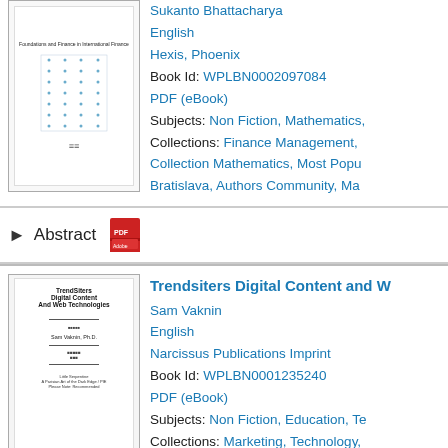[Figure (illustration): Book cover thumbnail for a mathematics/finance book showing a grid/table pattern]
Sukanto Bhattacharya
English
Hexis, Phoenix
Book Id: WPLBN0002097084
PDF (eBook)
Subjects: Non Fiction, Mathematics,
Collections: Finance Management, Collection Mathematics, Most Popu... Bratislava, Authors Community, Ma...
Abstract
[Figure (illustration): Book cover thumbnail for TrendSiters Digital Content and Web Technologies by Sam Vaknin Ph.D.]
Trendsiters Digital Content and W...
Sam Vaknin
English
Narcissus Publications Imprint
Book Id: WPLBN0001235240
PDF (eBook)
Subjects: Non Fiction, Education, Te...
Collections: Marketing, Technology, Economy, Most Popular Books in C...